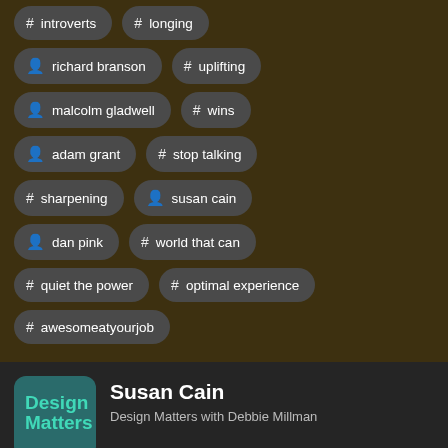# introverts
# longing
person richard branson
# uplifting
person malcolm gladwell
# wins
person adam grant
# stop talking
# sharpening
person susan cain
person dan pink
# world that can
# quiet the power
# optimal experience
# awesomeatyourjob
Susan Cain
Design Matters with Debbie Millman